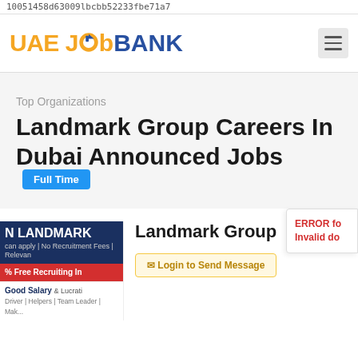10051458d63009lbcbb52233fbe71a7
[Figure (logo): UAE Job Bank logo with orange and blue text and a stylized 'o' icon]
Top Organizations
Landmark Group Careers In Dubai Announced Jobs Full Time
[Figure (infographic): Landmark Group job advertisement card with dark blue header 'N LANDMARK', small text 'can apply | No Recruitment Fees | Releva...', red bar '% Free Recruiting In', and text 'Good Salary & Lucrati Driver | Helpers | Team Leader | Mak...']
Landmark Group
Login to Send Message
ERROR fo
Invalid do